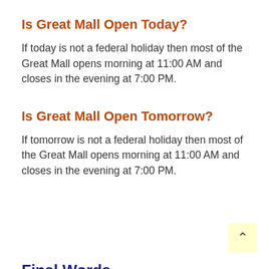Is Great Mall Open Today?
If today is not a federal holiday then most of the Great Mall opens morning at 11:00 AM and closes in the evening at 7:00 PM.
Is Great Mall Open Tomorrow?
If tomorrow is not a federal holiday then most of the Great Mall opens morning at 11:00 AM and closes in the evening at 7:00 PM.
Final Words